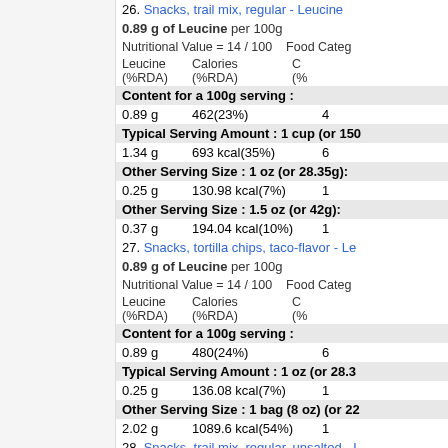26. Snacks, trail mix, regular - Leucine
0.89 g of Leucine per 100g
Nutritional Value = 14 / 100    Food Categ...
| Leucine (%RDA) | Calories (%RDA) | C (%) |
| --- | --- | --- |
| Content for a 100g serving : |  |  |
| 0.89 g | 462(23%) | 4 |
| Typical Serving Amount : 1 cup (or 150... |  |  |
| 1.34 g | 693 kcal(35%) | 6 |
| Other Serving Size : 1 oz (or 28.35g): |  |  |
| 0.25 g | 130.98 kcal(7%) | 1 |
| Other Serving Size : 1.5 oz (or 42g): |  |  |
| 0.37 g | 194.04 kcal(10%) | 1 |
27. Snacks, tortilla chips, taco-flavor - Leucine
0.89 g of Leucine per 100g
Nutritional Value = 14 / 100    Food Categ...
| Leucine (%RDA) | Calories (%RDA) | C (%) |
| --- | --- | --- |
| Content for a 100g serving : |  |  |
| 0.89 g | 480(24%) | 6 |
| Typical Serving Amount : 1 oz (or 28.3... |  |  |
| 0.25 g | 136.08 kcal(7%) | 1 |
| Other Serving Size : 1 bag (8 oz) (or 22... |  |  |
| 2.02 g | 1089.6 kcal(54%) | 1 |
28. Snacks, trail mix, regular, unsalted - L...